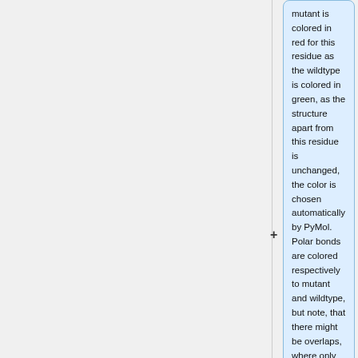mutant is colored in red for this residue as the wildtype is colored in green, as the structure apart from this residue is unchanged, the color is chosen automatically by PyMol. Polar bonds are colored respectively to mutant and wildtype, but note, that there might be overlaps, where only one color is shown.
<center>
<gallery widths=450px heights=250px perrow=2>